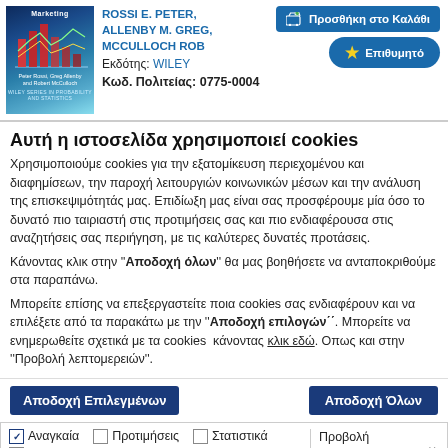[Figure (photo): Book cover with blue/teal gradient background and bar chart visualization, titled 'Marketing']
ROSSI E. PETER, ALLENBY M. GREG, MCCULLOCH ROB
Εκδότης: WILEY
Κωδ. Πολιτείας: 0775-0004
Προσθήκη στο Καλάθι
Επιθυμητό
Αυτή η ιστοσελίδα χρησιμοποιεί cookies
Χρησιμοποιούμε cookies για την εξατομίκευση περιεχομένου και διαφημίσεων, την παροχή λειτουργιών κοινωνικών μέσων και την ανάλυση της επισκεψιμότητάς μας. Επιδίωξη μας είναι σας προσφέρουμε μία όσο το δυνατό πιο ταιριαστή στις προτιμήσεις σας και πιο ενδιαφέρουσα στις αναζητήσεις σας περιήγηση, με τις καλύτερες δυνατές προτάσεις.
Κάνοντας κλικ στην ''Αποδοχή όλων'' θα μας βοηθήσετε να ανταποκριθούμε στα παραπάνω.
Μπορείτε επίσης να επεξεργαστείτε ποια cookies σας ενδιαφέρουν και να επιλέξετε από τα παρακάτω με την ''Αποδοχή επιλογών΄΄. Μπορείτε να ενημερωθείτε σχετικά με τα cookies  κάνοντας κλικ εδώ. Οπως και στην ''Προβολή λεπτομερειών''.
Αποδοχή Επιλεγμένων
Αποδοχή Όλων
Αναγκαία   Προτιμήσεις   Στατιστικά   Εμπορικής προώθησης   Προβολή λεπτομερειών